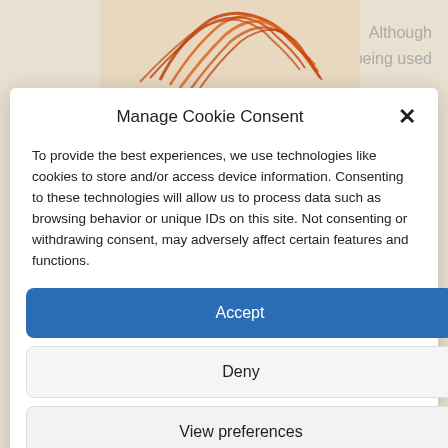[Figure (photo): Photo of saffron or dried spice strands in orange/red color, partially visible at the top of the page behind the modal dialog.]
Although
being used
Manage Cookie Consent
To provide the best experiences, we use technologies like cookies to store and/or access device information. Consenting to these technologies will allow us to process data such as browsing behavior or unique IDs on this site. Not consenting or withdrawing consent, may adversely affect certain features and functions.
Accept
Deny
View preferences
Cookie Policy   Privacy Statement